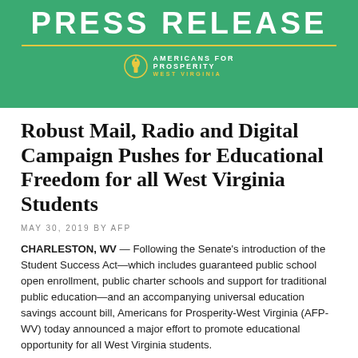[Figure (logo): Americans for Prosperity - West Virginia press release banner header with green background, PRESS RELEASE title in white, gold divider line, and AFP logo with torch icon]
Robust Mail, Radio and Digital Campaign Pushes for Educational Freedom for all West Virginia Students
MAY 30, 2019 BY AFP
CHARLESTON, WV — Following the Senate's introduction of the Student Success Act—which includes guaranteed public school open enrollment, public charter schools and support for traditional public education—and an accompanying universal education savings account bill, Americans for Prosperity-West Virginia (AFP-WV) today announced a major effort to promote educational opportunity for all West Virginia students.